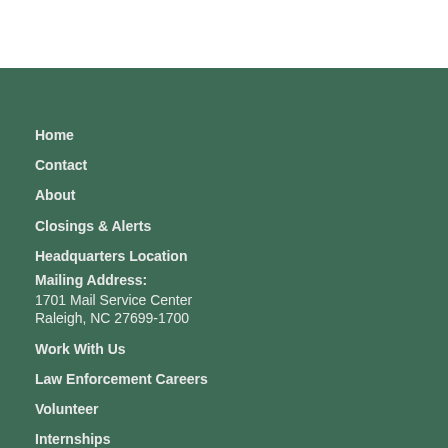Home
Contact
About
Closings & Alerts
Headquarters Location
Mailing Address:
1701 Mail Service Center
Raleigh, NC 27699-1700
Work With Us
Law Enforcement Careers
Volunteer
Internships